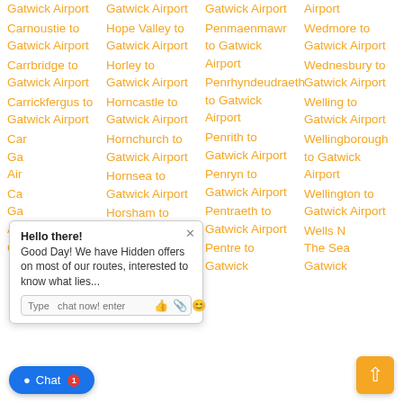Gatwick Airport
Carnoustie to Gatwick Airport
Carrbridge to Gatwick Airport
Carrickfergus to Gatwick Airport
Car... to Gatwick Airport
Car... to Gatwick Airport
Cary...
Gatwick Airport
Hope Valley to Gatwick Airport
Horley to Gatwick Airport
Horncastle to Gatwick Airport
Hornchurch to Gatwick Airport
Hornsea to Gatwick Airport
Horsham to Gatwick
Gatwick Airport
Penmaenmawr to Gatwick Airport
Penrhyndeudraeth to Gatwick Airport
Penrith to Gatwick Airport
Penryn to Gatwick Airport
Pentraeth to Gatwick Airport
Pentre to Gatwick
Airport Wedmore to Gatwick Airport
Wednesbury to Gatwick Airport
Welling to Gatwick Airport
Wellingborough to Gatwick Airport
Wellington to Gatwick Airport
Wells N... The Sea... Gatwick...
[Figure (screenshot): Chat popup overlay with greeting 'Hello there! Good Day! We have Hidden offers on most of our routes, interested to know what lies...' with a text input bar and icons, plus a blue Chat button with notification badge at bottom left, and an orange scroll-to-top button at bottom right.]